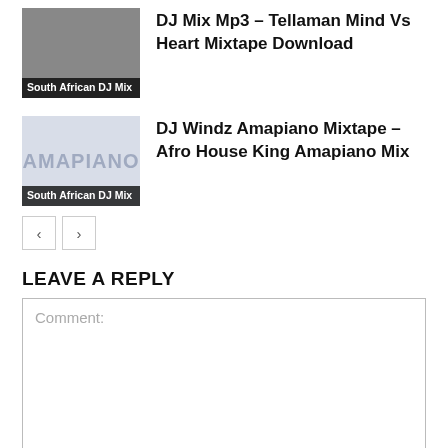[Figure (photo): Thumbnail image of DJ with dark background, labeled South African DJ Mix]
DJ Mix Mp3 – Tellaman Mind Vs Heart Mixtape Download
[Figure (photo): Amapiano themed thumbnail with light blue background showing AMAPIANO text, labeled South African DJ Mix]
DJ Windz Amapiano Mixtape – Afro House King Amapiano Mix
< >
LEAVE A REPLY
Comment: